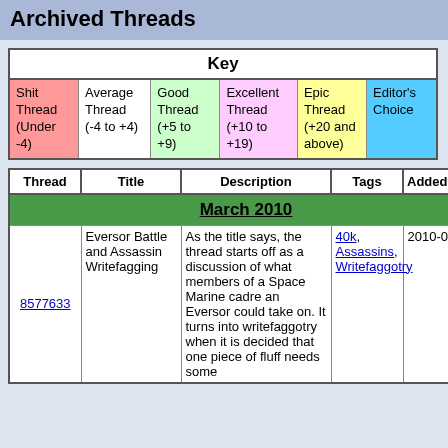Archived Threads
| Key |
| --- |
| Shit Thread (Under -4) | Average Thread (-4 to +4) | Good Thread (+5 to +9) | Excellent Thread (+10 to +19) | Epic Thread (+20 and above) | Editor's Choice |
| Thread | Title | Description | Tags | Added | Sc |
| --- | --- | --- | --- | --- | --- |
| March 2010 |  |  |  |  |  |
| 8577633 | Eversor Battle and Assassin Writefagging | As the title says, the thread starts off as a discussion of what members of a Space Marine cadre an Eversor could take on. It turns into writefaggotry when it is decided that one piece of fluff needs some attention. | 40k, Assassins, Writefaggotry | 2010-03-14 | 0 |